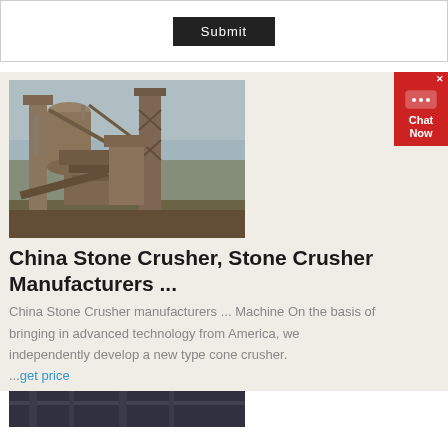[Figure (screenshot): Submit button on white background with border]
[Figure (photo): Industrial stone crusher machinery photograph showing large mining/crushing equipment with steel structures, conveyor belts, and industrial components against a sky background]
China Stone Crusher, Stone Crusher Manufacturers ...
China Stone Crusher manufacturers ... Machine On the basis of bringing in advanced technology from America, we independently develop a new type cone crusher.
...get price
[Figure (photo): Partial view of another stone crusher or industrial machinery photograph at bottom of page]